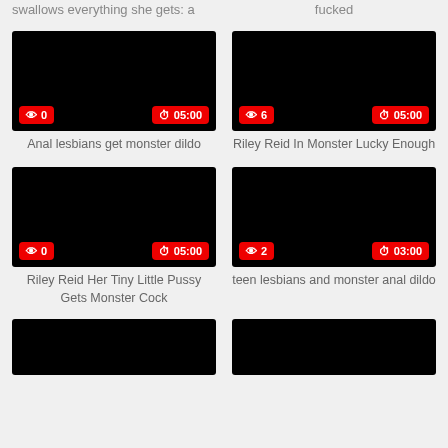swallows everything she gets: a
fucked
[Figure (screenshot): Black video thumbnail with view count badge showing 0 and duration badge showing 05:00]
Anal lesbians get monster dildo
[Figure (screenshot): Black video thumbnail with view count badge showing 6 and duration badge showing 05:00]
Riley Reid In Monster Lucky Enough
[Figure (screenshot): Black video thumbnail with view count badge showing 0 and duration badge showing 05:00]
Riley Reid Her Tiny Little Pussy Gets Monster Cock
[Figure (screenshot): Black video thumbnail with view count badge showing 2 and duration badge showing 03:00]
teen lesbians and monster anal dildo
[Figure (screenshot): Black video thumbnail partial at bottom left]
[Figure (screenshot): Black video thumbnail partial at bottom right]